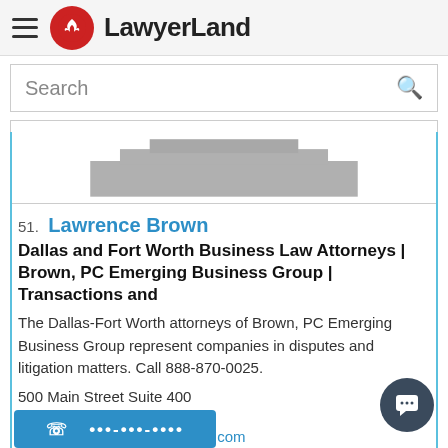LawyerLand
Search
[Figure (illustration): Placeholder image showing a gray courthouse or building silhouette]
51. Lawrence Brown
Dallas and Fort Worth Business Law Attorneys | Brown, PC Emerging Business Group | Transactions and
The Dallas-Fort Worth attorneys of Brown, PC Emerging Business Group represent companies in disputes and litigation matters. Call 888-870-0025.
500 Main Street Suite 400
Fort Worth, TX 76102
http://www.brownbusinesslaw.com